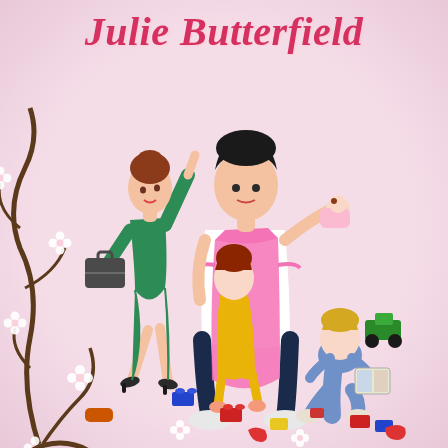Julie Butterfield
[Figure (illustration): Book cover illustration showing a man in a pink apron holding a baby and a dangling toddler in yellow, a woman in green business suit walking away with briefcase, a young child playing on the floor with toy blocks and trucks, scattered toys and building blocks on the floor, decorative dark vine with white flowers on the left side, pink background]